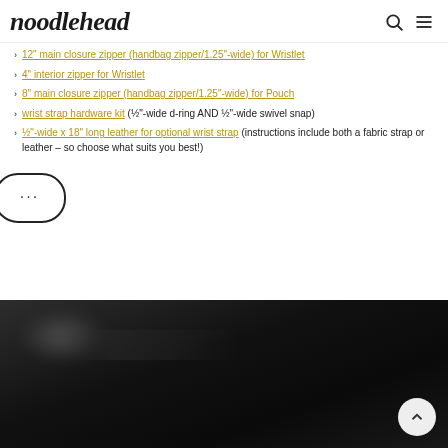noodlehead
12" main closure zipper (handbag zipper/1.25"-wide) for Wristlet
4" interior zipper for Wristlet
8" main closure zipper (handbag zipper/1.25"-wide) for Pouch
wrist strap hardware kit (½"-wide d-ring AND ½"-wide swivel snap)
½"-wide x 18" long leather for optional wrist strap (instructions include both a fabric strap or leather – so choose what suits you best!)
[Figure (photo): Dark/black background photo, partially visible, likely showing a leather or fabric bag accessory. A circular back-to-top button is visible in the lower right corner.]